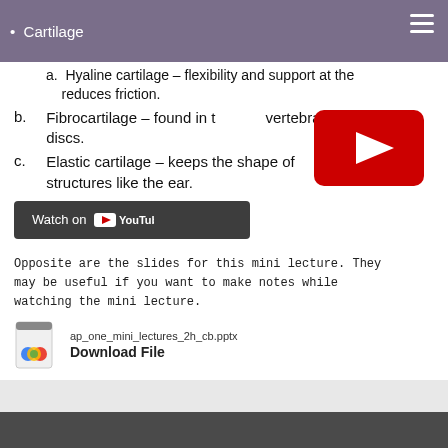Cartilage
a. Hyaline cartilage – flexibility and support at the reduces friction.
[Figure (screenshot): YouTube video thumbnail/player overlay — red rounded rectangle with white play triangle]
b. Fibrocartilage – found in the intervertebral discs.
c. Elastic cartilage – keeps the shape of structures like the ear.
[Figure (screenshot): Dark grey button with 'Watch on YouTube' text and YouTube logo]
Opposite are the slides for this mini lecture. They may be useful if you want to make notes while watching the mini lecture.
ap_one_mini_lectures_2h_cb.pptx
Download File